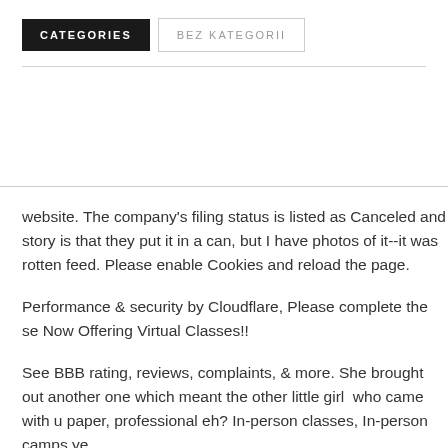CATEGORIES
BEZ KATEGORII
website. The company's filing status is listed as Canceled and story is that they put it in a can, but I have photos of it--it was rotten feed. Please enable Cookies and reload the page.
Performance & security by Cloudflare, Please complete the se Now Offering Virtual Classes!!
See BBB rating, reviews, complaints, & more. She brought out another one which meant the other little girl  who came with u paper, professional eh? In-person classes, In-person camps ye